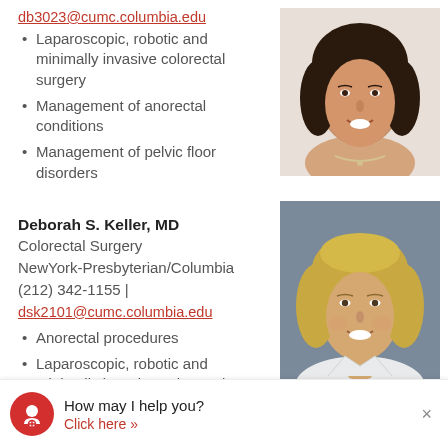db3023@cumc.columbia.edu
Laparoscopic, robotic and minimally invasive colorectal surgery
Management of anorectal conditions
Management of pelvic floor disorders
[Figure (photo): Headshot of a woman with dark curly hair, smiling, wearing a light top and necklace.]
Deborah S. Keller, MD
Colorectal Surgery
NewYork-Presbyterian/Columbia
(212) 342-1155 | dsk2101@cumc.columbia.edu
Anorectal procedures
Laparoscopic, robotic and minimally invasive colorectal
[Figure (photo): Headshot of a woman with blonde curly hair, smiling, wearing a white coat.]
How may I help you?
Click here >>